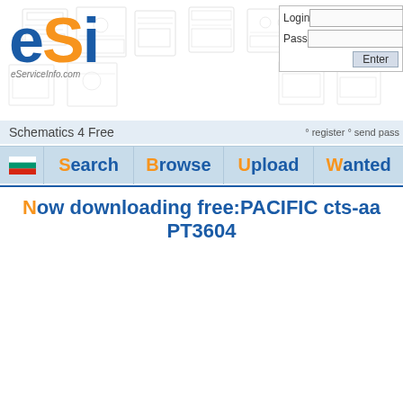[Figure (logo): eSI eServiceInfo.com logo with blue and orange letters]
[Figure (screenshot): Login and password input fields with Enter button in top right]
Schematics 4 Free
° register ° send pass
Search Browse Upload Wanted
Now downloading free:PACIFIC cts-aa PT3604